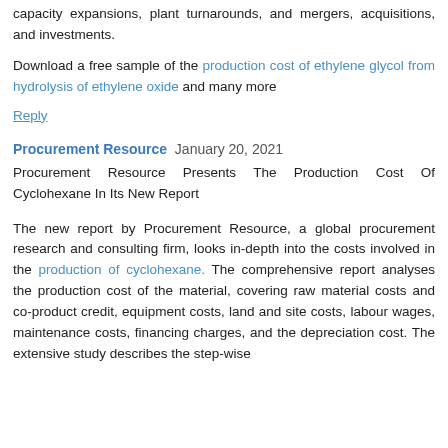capacity expansions, plant turnarounds, and mergers, acquisitions, and investments.
Download a free sample of the production cost of ethylene glycol from hydrolysis of ethylene oxide and many more
Reply
Procurement Resource  January 20, 2021
Procurement Resource Presents The Production Cost Of Cyclohexane In Its New Report
The new report by Procurement Resource, a global procurement research and consulting firm, looks in-depth into the costs involved in the production of cyclohexane. The comprehensive report analyses the production cost of the material, covering raw material costs and co-product credit, equipment costs, land and site costs, labour wages, maintenance costs, financing charges, and the depreciation cost. The extensive study describes the step-wise